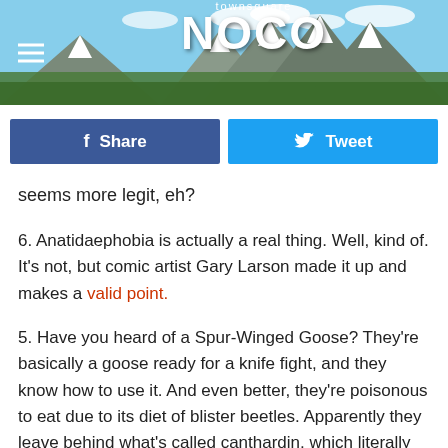[Figure (screenshot): Townsquare NoCo website header banner with mountain landscape background and hamburger menu icon]
[Figure (infographic): Social sharing buttons: blue Facebook Share button and light blue Twitter Tweet button]
seems more legit, eh?
6. Anatidaephobia is actually a real thing. Well, kind of. It's not, but comic artist Gary Larson made it up and makes a valid point.
5. Have you heard of a Spur-Winged Goose? They're basically a goose ready for a knife fight, and they know how to use it. And even better, they're poisonous to eat due to its diet of blister beetles. Apparently they leave behind what's called canthardin, which literally can kill a human if consumed. Brings a whole new meaning to the term "cooked their goose."